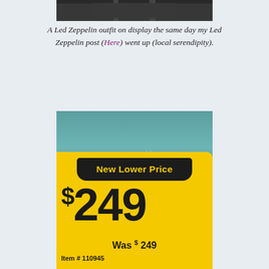[Figure (photo): Partial photo of a Led Zeppelin outfit on display, dark tones, cropped at top]
A Led Zeppelin outfit on display the same day my Led Zeppelin post (Here) went up (local serendipity).
[Figure (photo): A retail price tag showing 'New Lower Price $249 Was $249 Item # 110945' on a yellow card with teal background]